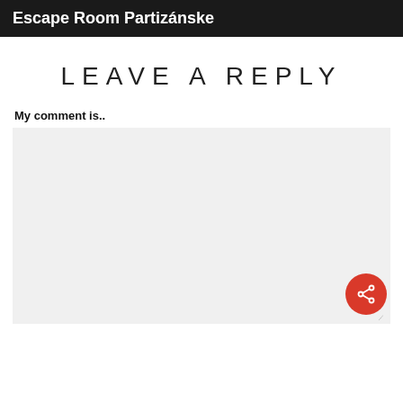Escape Room Partizánske
LEAVE A REPLY
My comment is..
[Figure (screenshot): Empty comment text area input field with light gray background, with a red circular share button overlay in the bottom-right corner containing a share icon]